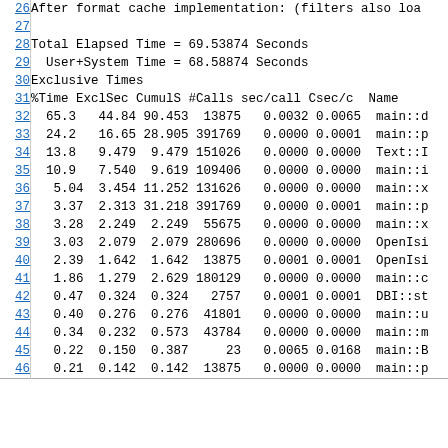| Line | Content |
| --- | --- |
| 26 | After format cache implementation: (filters also loa |
| 27 |  |
| 28 | Total Elapsed Time = 69.53874 Seconds |
| 29 |   User+System Time = 68.58874 Seconds |
| 30 | Exclusive Times |
| 31 | %Time ExclSec CumulS #Calls sec/call Csec/c  Name |
| 32 |   65.3   44.84 90.453  13875   0.0032 0.0065  main::d |
| 33 |   24.2   16.65 28.905 391769   0.0000 0.0001  main::p |
| 34 |   13.8   9.479  9.479 151026   0.0000 0.0000  Text::I |
| 35 |   10.9   7.540  9.619 109406   0.0000 0.0000  main::i |
| 36 |    5.04  3.454 11.252 131626   0.0000 0.0000  main::x |
| 37 |    3.37  2.313 31.218 391769   0.0000 0.0001  main::p |
| 38 |    3.28  2.249  2.249  55675   0.0000 0.0000  main::x |
| 39 |    3.03  2.079  2.079 280696   0.0000 0.0000  OpenIsi |
| 40 |    2.39  1.642  1.642  13875   0.0001 0.0001  OpenIsi |
| 41 |    1.86  1.279  2.629 180129   0.0000 0.0000  main::c |
| 42 |    0.47  0.324  0.324   2757   0.0001 0.0001  DBI::st |
| 43 |    0.40  0.276  0.276  41801   0.0000 0.0000  main::u |
| 44 |    0.34  0.232  0.573  43784   0.0000 0.0000  main::m |
| 45 |    0.22  0.150  0.387     23   0.0065 0.0168  main::B |
| 46 |    0.21  0.142  0.142  13875   0.0000 0.0000  main::p |